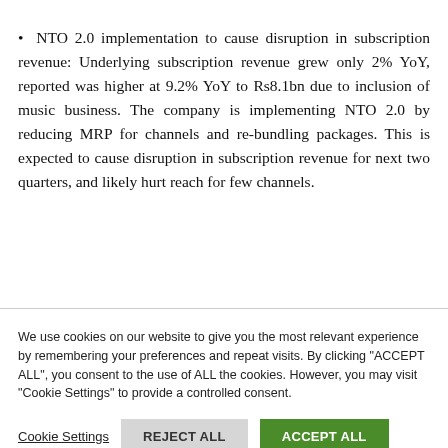NTO 2.0 implementation to cause disruption in subscription revenue: Underlying subscription revenue grew only 2% YoY, reported was higher at 9.2% YoY to Rs8.1bn due to inclusion of music business. The company is implementing NTO 2.0 by reducing MRP for channels and re-bundling packages. This is expected to cause disruption in subscription revenue for next two quarters, and likely hurt reach for few channels.
We use cookies on our website to give you the most relevant experience by remembering your preferences and repeat visits. By clicking "ACCEPT ALL", you consent to the use of ALL the cookies. However, you may visit "Cookie Settings" to provide a controlled consent.